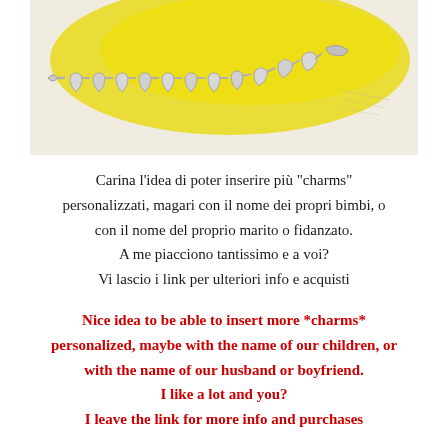[Figure (photo): A silver charm bracelet with heart-shaped links photographed on a yellow painted surface background]
Carina l'idea di poter inserire più "charms" personalizzati, magari con il nome dei propri bimbi, o con il nome del proprio marito o fidanzato. A me piacciono tantissimo e a voi? Vi lascio i link per ulteriori info e acquisti
Nice idea to be able to insert more *charms* personalized, maybe with the name of our children, or with the name of our husband or boyfriend. I like a lot and you? I leave the link for more info and purchases